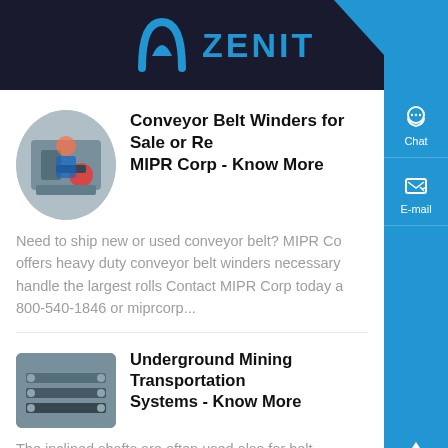ZENIT
Conveyor Belt Winders for Sale or Re... MIPR Corp - Know More
Need to ship new or used conveyor belt? MIPR Co... offers heavy duty conveyor belt winders necessary handle the largest rolls Contact MIPR Corp today a... 800-540-1846 or miprcorp...
Underground Mining Transportation Systems - Know More
The inclined shafts are often used also for belt conveyor transport, and therefore are generally inclined at 16-18 degrees from the horizontal There... are many inclined shafts that are equipped with rail...